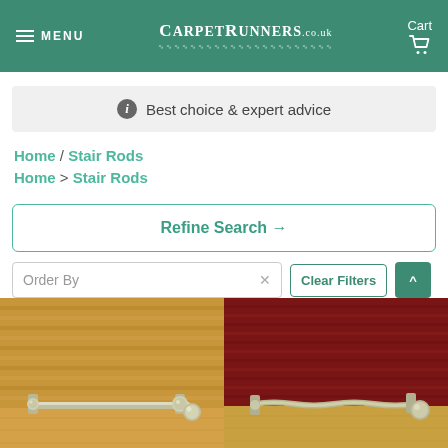MENU | CARPETRUNNERS.co.uk | Cart
ⓘ Best choice & expert advice
Home / Stair Rods
Home > Stair Rods
Refine Search →
Order By
Clear Filters
[Figure (photo): Close-up of a beige/gold textured carpet on stairs with a silver stair rod bracket]
[Figure (photo): Close-up of a dark red/burgundy carpet on stairs with a twisted silver stair rod bracket]